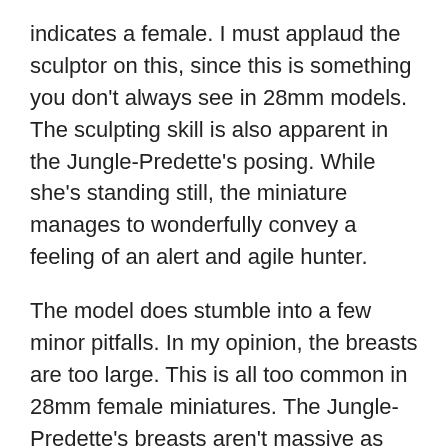indicates a female. I must applaud the sculptor on this, since this is something you don't always see in 28mm models. The sculpting skill is also apparent in the Jungle-Predette's posing. While she's standing still, the miniature manages to wonderfully convey a feeling of an alert and agile hunter.
The model does stumble into a few minor pitfalls. In my opinion, the breasts are too large. This is all too common in 28mm female miniatures. The Jungle-Predette's breasts aren't massive as such, but they still look a bit too full for an obviously very lean and muscular frame. To see what I mean, do a Google image search for female ufc fighters. All that muscle will eat up body fat – breasts included. The same theme is also present in the clothing. Instead of the fairly functional armour worn by most Predators, the